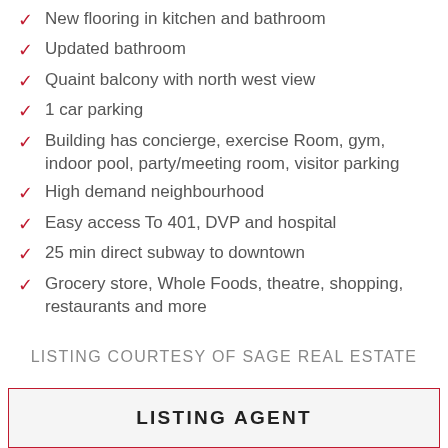New flooring in kitchen and bathroom
Updated bathroom
Quaint balcony with north west view
1 car parking
Building has concierge, exercise Room, gym, indoor pool, party/meeting room, visitor parking
High demand neighbourhood
Easy access To 401, DVP and hospital
25 min direct subway to downtown
Grocery store, Whole Foods, theatre, shopping, restaurants and more
LISTING COURTESY OF SAGE REAL ESTATE
LISTING AGENT